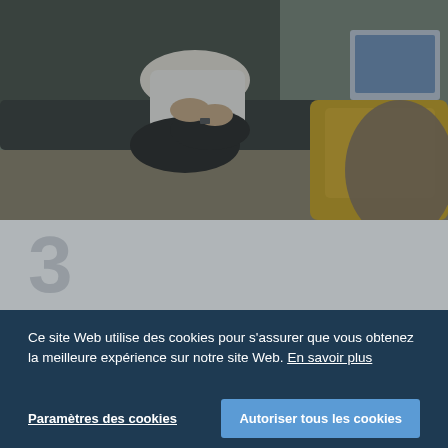[Figure (photo): A man in a white t-shirt sitting cross-legged on a sofa with a laptop nearby, facing someone seated in a yellow chair, informal meeting scene]
3
Ce site Web utilise des cookies pour s'assurer que vous obtenez la meilleure expérience sur notre site Web. En savoir plus
Paramètres des cookies
Autoriser tous les cookies